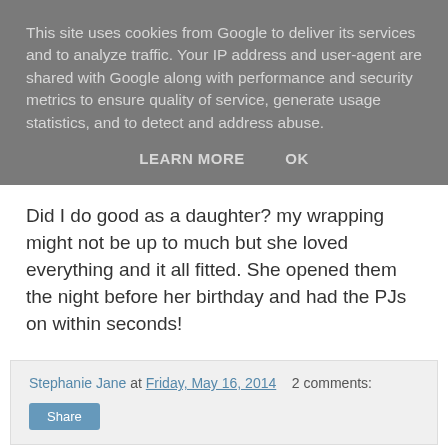This site uses cookies from Google to deliver its services and to analyze traffic. Your IP address and user-agent are shared with Google along with performance and security metrics to ensure quality of service, generate usage statistics, and to detect and address abuse.
LEARN MORE    OK
Did I do good as a daughter? my wrapping might not be up to much but she loved everything and it all fitted. She opened them the night before her birthday and had the PJs on within seconds!
Stephanie Jane at Friday, May 16, 2014   2 comments:
Share
Monday, 12 May 2014
Winner Takes It All